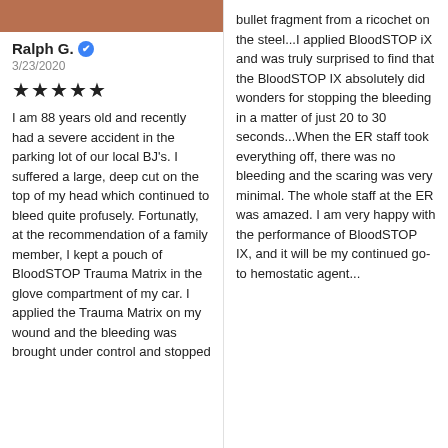[Figure (photo): Skin/wound photo strip at top of left column]
Ralph G. ✔
3/23/2020
★★★★★
I am 88 years old and recently had a severe accident in the parking lot of our local BJ's.  I suffered a large, deep cut on the top of my head which continued to bleed quite profusely. Fortunatly, at the recommendation of a family member, I kept a pouch of BloodSTOP Trauma Matrix in the glove compartment of my car.  I applied the Trauma Matrix on my wound and the bleeding was brought under control and stopped
bullet fragment from a ricochet on the steel...I applied BloodSTOP iX and was truly surprised to find that the BloodSTOP IX absolutely did wonders for stopping the bleeding in a matter of just 20 to 30 seconds...When the ER staff took everything off, there was no bleeding and the scaring was very minimal.  The whole staff at the ER was amazed. I am very happy with the performance of BloodSTOP IX, and it will be my continued go-to hemostatic agent...